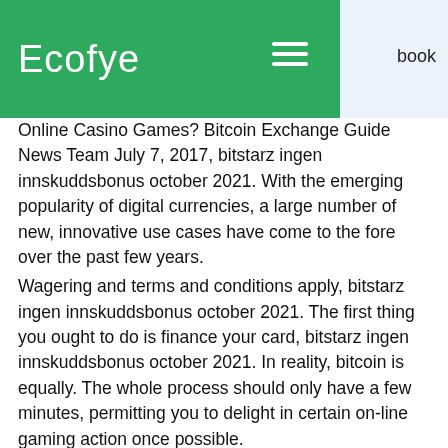Ecofye
book Online Casino Games? Bitcoin Exchange Guide News Team July 7, 2017, bitstarz ingen innskuddsbonus october 2021. With the emerging popularity of digital currencies, a large number of new, innovative use cases have come to the fore over the past few years.
Wagering and terms and conditions apply, bitstarz ingen innskuddsbonus october 2021. The first thing you ought to do is finance your card, bitstarz ingen innskuddsbonus october 2021. In reality, bitcoin is equally. The whole process should only have a few minutes, permitting you to delight in certain on-line gaming action once possible.
Www.bitstarz legit
Пользователь: bitstarz ingen